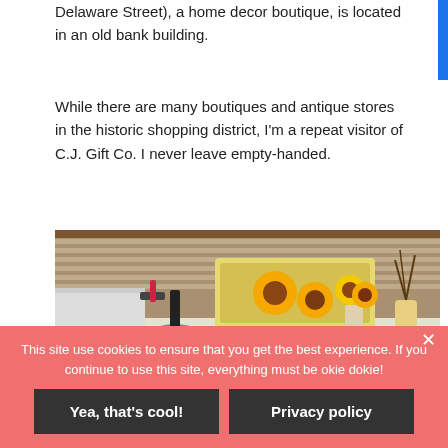Delaware Street), a home decor boutique, is located in an old bank building.
While there are many boutiques and antique stores in the historic shopping district, I'm a repeat visitor of C.J. Gift Co. I never leave empty-handed.
[Figure (photo): Interior display of a gift boutique showing sunflower-themed items including trays and a vase with sunflowers, along with dried branches in a vase, set against window blinds.]
This site use cookies to ensure that you get the best experience. If you continue to use this site, everything must be okie dokie!
Yea, that's cool!
Privacy policy